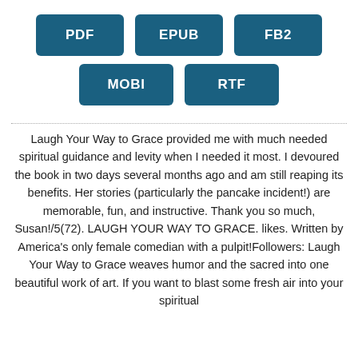[Figure (other): Three download format buttons in a row: PDF, EPUB, FB2]
[Figure (other): Two download format buttons in a row: MOBI, RTF]
Laugh Your Way to Grace provided me with much needed spiritual guidance and levity when I needed it most. I devoured the book in two days several months ago and am still reaping its benefits. Her stories (particularly the pancake incident!) are memorable, fun, and instructive. Thank you so much, Susan!/5(72). LAUGH YOUR WAY TO GRACE. likes. Written by America's only female comedian with a pulpit!Followers: Laugh Your Way to Grace weaves humor and the sacred into one beautiful work of art. If you want to blast some fresh air into your spiritual